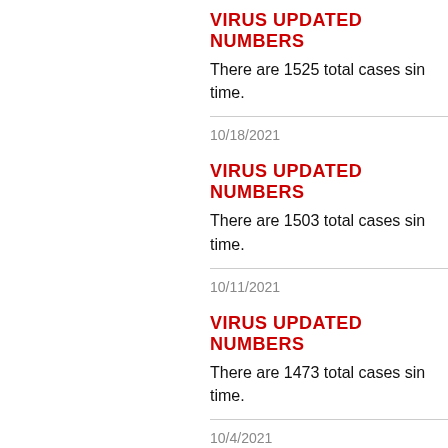VIRUS UPDATED NUMBERS
There are 1525 total cases since time.
10/18/2021
VIRUS UPDATED NUMBERS
There are 1503 total cases since time.
10/11/2021
VIRUS UPDATED NUMBERS
There are 1473 total cases since time.
10/4/2021
VIRUS UPDATED NUMBERS
There are 1459 total cases since time.